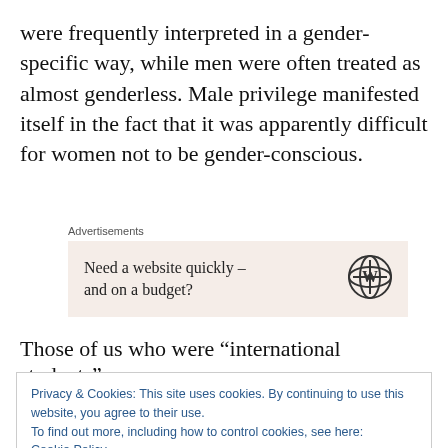were frequently interpreted in a gender-specific way, while men were often treated as almost genderless. Male privilege manifested itself in the fact that it was apparently difficult for women not to be gender-conscious.
[Figure (other): Advertisement box with text 'Need a website quickly – and on a budget?' and WordPress logo. Labeled 'Advertisements'.]
Those of us who were “international students”
Privacy & Cookies: This site uses cookies. By continuing to use this website, you agree to their use.
To find out more, including how to control cookies, see here:
Cookie Policy
Close and accept
Francophone scholars, yet being able not to